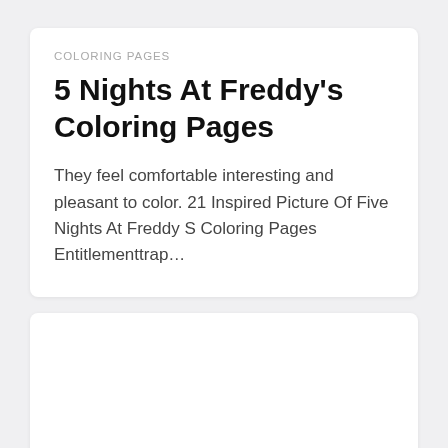COLORING PAGES
5 Nights At Freddy's Coloring Pages
They feel comfortable interesting and pleasant to color. 21 Inspired Picture Of Five Nights At Freddy S Coloring Pages Entitlementtrap…